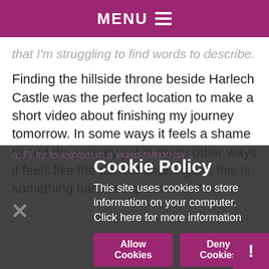MENU ≡
that I'm struggling to find words to describe.
Finding the hillside throne beside Harlech Castle was the perfect location to make a short video about finishing my journey tomorrow. In some ways it feels a shame to end the journey yet in many other ways it feels like the perfect time. Again, this is something hard to explain and it's a culmination of many things, all of which are signs to me that it is the right time to
a. I'll try to explain in a video tomorrow...
Cookie Policy
This site uses cookies to store information on your computer. Click here for more information
Allow Cookies
Deny Cookies